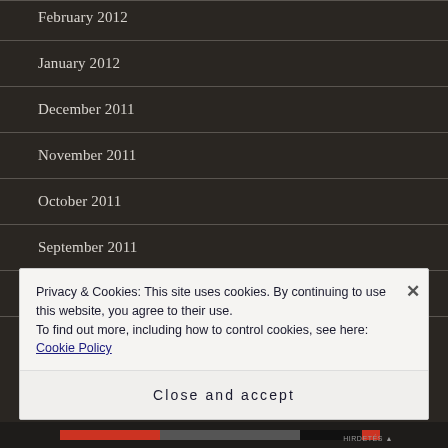February 2012
January 2012
December 2011
November 2011
October 2011
September 2011
August 2011
July 2011
Privacy & Cookies: This site uses cookies. By continuing to use this website, you agree to their use.
To find out more, including how to control cookies, see here: Cookie Policy
Close and accept